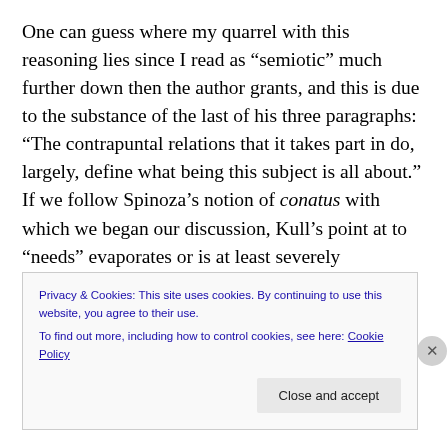One can guess where my quarrel with this reasoning lies since I read as “semiotic” much further down then the author grants, and this is due to the substance of the last of his three paragraphs: “The contrapuntal relations that it takes part in do, largely, define what being this subject is all about.” If we follow Spinoza’s notion of conatus with which we began our discussion, Kull’s point at to “needs” evaporates or is at least severely challenged. Sedimentation preserves itself against what is irrelevant or harmful through its very coherence until over come. This is
Privacy & Cookies: This site uses cookies. By continuing to use this website, you agree to their use.
To find out more, including how to control cookies, see here: Cookie Policy